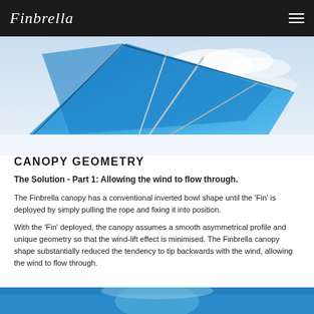Finbrello
[Figure (photo): Photo of a blue Finbrello canopy/umbrella against a bright sky, showing the fin-shaped canopy and support poles]
CANOPY GEOMETRY
The Solution - Part 1: Allowing the wind to flow through.
The Finbrella canopy has a conventional inverted bowl shape until the 'Fin' is deployed by simply pulling the rope and fixing it into position.
With the 'Fin' deployed, the canopy assumes a smooth asymmetrical profile and unique geometry so that the wind-lift effect is minimised. The Finbrella canopy shape substantially reduced the tendency to tip backwards with the wind, allowing the wind to flow through.
[Figure (photo): Partial photo at the bottom of another Finbrello umbrella view]